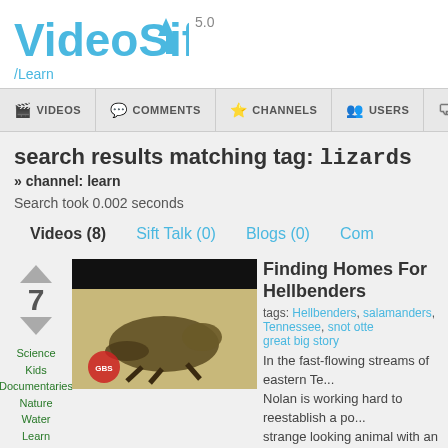[Figure (logo): VideoSift 5.0 logo in blue with upward arrow]
/Learn
VIDEOS | COMMENTS | CHANNELS | USERS | SIFT TALK FO...
search results matching tag: lizards
» channel: learn
Search took 0.002 seconds
Videos (8)   Sift Talk (0)   Blogs (0)   Com...
[Figure (photo): Thumbnail of a hellbender salamander on white background with Great Big Story watermark]
Finding Homes For Hellbenders
tags: Hellbenders, salamanders, Tennessee, snot otte... great big story
In the fast-flowing streams of eastern Te... Nolan is working hard to reestablish a po... strange looking animal with an even stra... nicknames. The Eastern hellbender—ak... reading